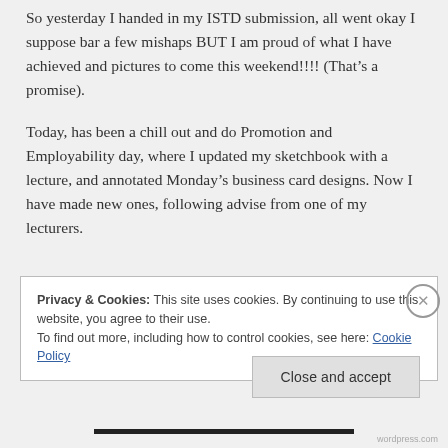So yesterday I handed in my ISTD submission, all went okay I suppose bar a few mishaps BUT I am proud of what I have achieved and pictures to come this weekend!!!! (That's a promise).
Today, has been a chill out and do Promotion and Employability day, where I updated my sketchbook with a lecture, and annotated Monday's business card designs. Now I have made new ones, following advise from one of my lecturers.
Privacy & Cookies: This site uses cookies. By continuing to use this website, you agree to their use.
To find out more, including how to control cookies, see here: Cookie Policy
Close and accept